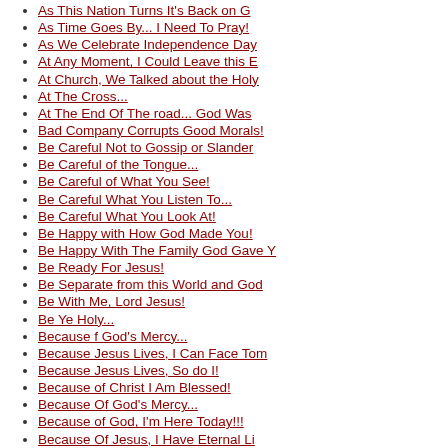As This Nation Turns It's Back on G
As Time Goes By... I Need To Pray!
As We Celebrate Independence Day
At Any Moment, I Could Leave this E
At Church, We Talked about the Holy
At The Cross...
At The End Of The road... God Was
Bad Company Corrupts Good Morals!
Be Careful Not to Gossip or Slander
Be Careful of the Tongue...
Be Careful of What You See!
Be Careful What You Listen To...
Be Careful What You Look At!
Be Happy with How God Made You!
Be Happy With The Family God Gave Y
Be Ready For Jesus!
Be Separate from this World and God
Be With Me, Lord Jesus!
Be Ye Holy...
Because f God's Mercy...
Because Jesus Lives, I Can Face Tom
Because Jesus Lives, So do I!
Because of Christ I Am Blessed!
Because Of God's Mercy...
Because of God, I'm Here Today!!!
Because Of Jesus, I Have Eternal Li
Because of Jesus... Life Is Good!
Before Adam And Eve... There Was
Behold the Beauty of God's Creatio
Behold The Lord's Mercy and Love!